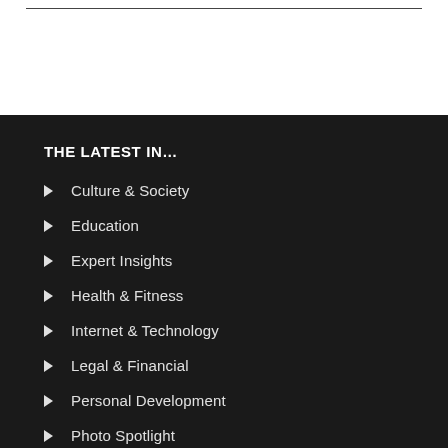THE LATEST IN…
Culture & Society
Education
Expert Insights
Health & Fitness
Internet & Technology
Legal & Financial
Personal Development
Photo Spotlight